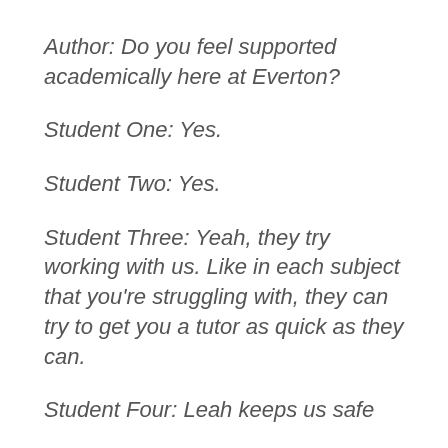Author: Do you feel supported academically here at Everton?
Student One: Yes.
Student Two: Yes.
Student Three: Yeah, they try working with us. Like in each subject that you're struggling with, they can try to get you a tutor as quick as they can.
Student Four: Leah keeps us safe